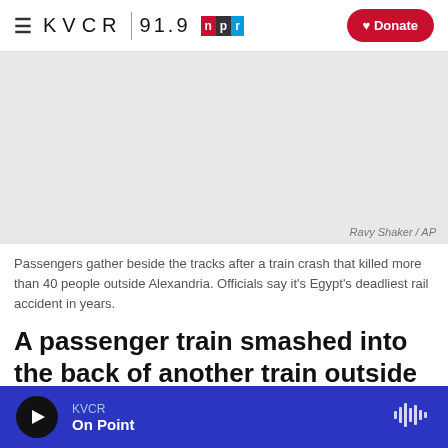KVCR 91.9 NPR — Donate
[Figure (photo): Passengers gather beside train tracks after a crash, photo credited to Ravy Shaker / AP]
Passengers gather beside the tracks after a train crash that killed more than 40 people outside Alexandria. Officials say it's Egypt's deadliest rail accident in years.
A passenger train smashed into the back of another train outside the Egyptian city of
KVCR — On Point (audio player bar)